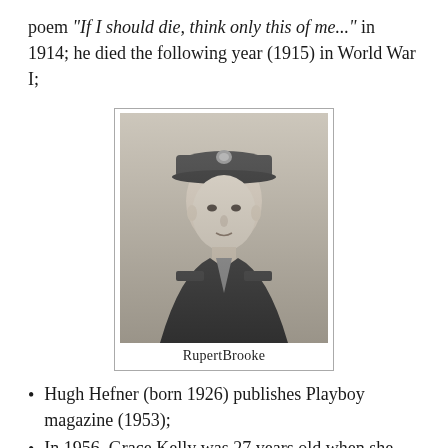poem "If I should die, think only this of me..." in 1914; he died the following year (1915) in World War I;
[Figure (photo): Black and white portrait photograph of Rupert Brooke in military uniform with a cap]
RupertBrooke
Hugh Hefner (born 1926) publishes Playboy magazine (1953);
In 1956, Grace Kelly was 27 years old when she retired from movies to marry Prince Rainier of Monaco;
Aged 27 Julie Andrews starred in her first